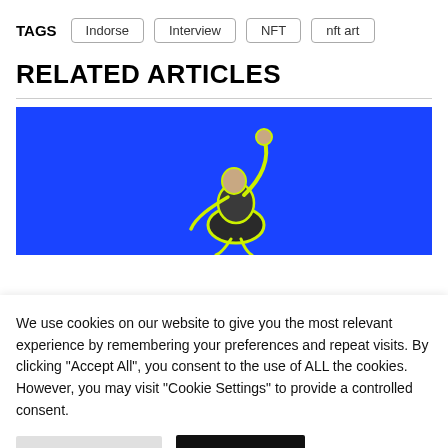TAGS  Indorse  Interview  NFT  nft art
RELATED ARTICLES
[Figure (illustration): Blue background with a person figure holding up a fist, outlined in yellow-green, appearing to jump or be lifted]
We use cookies on our website to give you the most relevant experience by remembering your preferences and repeat visits. By clicking "Accept All", you consent to the use of ALL the cookies. However, you may visit "Cookie Settings" to provide a controlled consent.
Cookie Settings   Accept All
Read our Cookie Statement